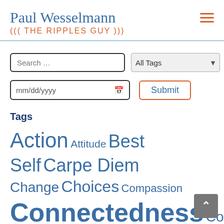Paul Wesselmann
((( THE RIPPLES GUY )))
Tags
Action Attitude Best Self Carpe Diem Change Choices Compassion Connectedness Conquer Courage Creativity Discipline Embrace Possibility Explore